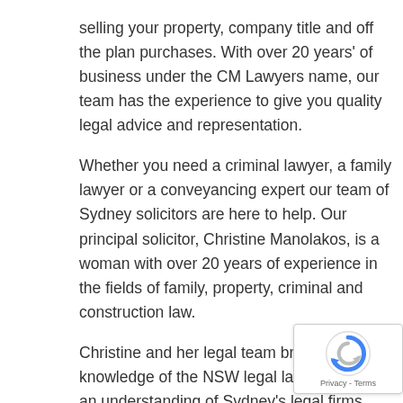selling your property, company title and off the plan purchases. With over 20 years' of business under the CM Lawyers name, our team has the experience to give you quality legal advice and representation.
Whether you need a criminal lawyer, a family lawyer or a conveyancing expert our team of Sydney solicitors are here to help. Our principal solicitor, Christine Manolakos, is a woman with over 20 years of experience in the fields of family, property, criminal and construction law.
Christine and her legal team bring both knowledge of the NSW legal landscape and an understanding of Sydney's legal firms and courts to every case — from divorce mediation proceedings to court appearanc…
We're a small firm, so you can be confident you hav… dedicated professionals who are always available to…